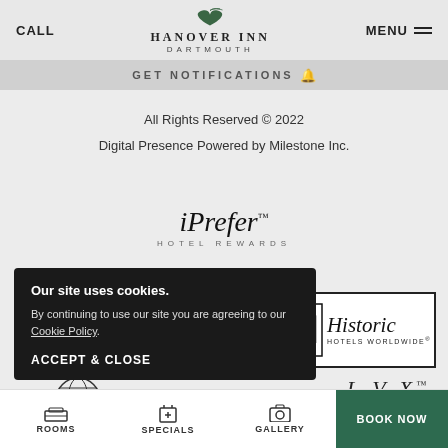CALL | HANOVER INN DARTMOUTH | MENU
GET NOTIFICATIONS
All Rights Reserved © 2022
Digital Presence Powered by Milestone Inc.
[Figure (logo): iPrefer Hotel Rewards logo]
Our site uses cookies.
By continuing to use our site you are agreeing to our Cookie Policy.
ACCEPT & CLOSE
[Figure (logo): Historic Hotels Worldwide badge with monogram]
[Figure (logo): Partial globe logo bottom left]
[Figure (logo): Partial LVX logo bottom right]
ROOMS | SPECIALS | GALLERY | BOOK NOW